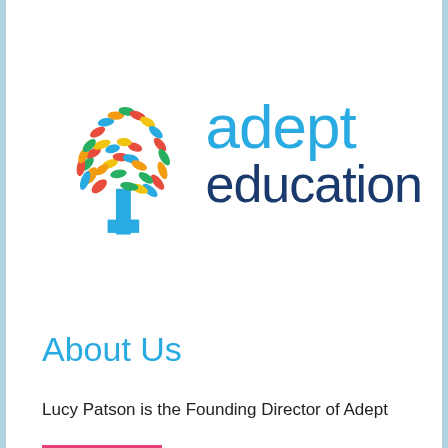[Figure (logo): Adept Education logo: a colorful tree with leaves in red, orange, yellow, green, and blue on a blue trunk, with 'adept' in light blue and 'education' in dark navy blue text]
About Us
Lucy Patson is the Founding Director of Adept